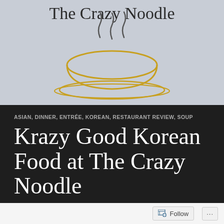[Figure (illustration): Hand-drawn sketch of a steaming bowl of noodle soup on a saucer, with text 'The Crazy Noodle' written above in handwritten script, on a light grey/blue background.]
ASIAN, DINNER, ENTRÉE, KOREAN, RESTAURANT REVIEW, SOUP
Krazy Good Korean Food at The Crazy Noodle
Follow ...